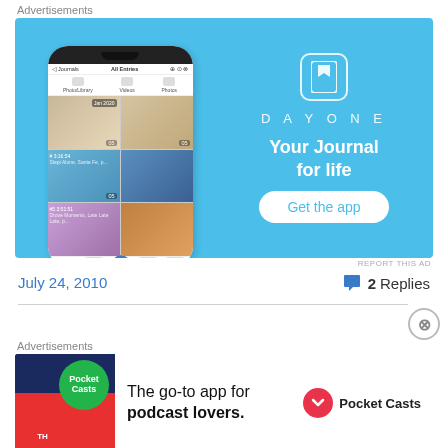Advertisements
[Figure (illustration): DayOne journal app advertisement. Blue background with smartphone mockup showing journal photo grid on the left, and on the right: DayOne bookmark icon, 'DAYONE' wordmark, 'Your Journal for life' tagline, and 'Get the app' button.]
REPORT THIS AD
July 24, 2010
2 Replies
Advertisements
[Figure (illustration): Pocket Casts podcast app advertisement. Left side has colorful geometric shapes; right side shows 'The go-to app for podcast lovers.' with Pocket Casts logo.]
REPORT THIS AD